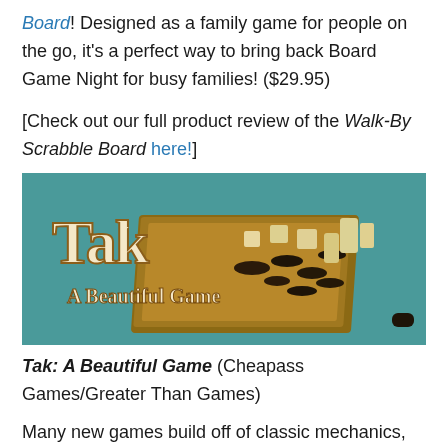Board! Designed as a family game for people on the go, it's a perfect way to bring back Board Game Night for busy families! ($29.95)
[Check out our full product review of the Walk-By Scrabble Board here!]
[Figure (photo): Photo of Tak: A Beautiful Game board game showing wooden pieces on a board with the game logo and tagline 'A Beautiful Game' on a teal background]
Tak: A Beautiful Game (Cheapass Games/Greater Than Games)
Many new games build off of classic mechanics, but very few new games truly feel like they could have been played